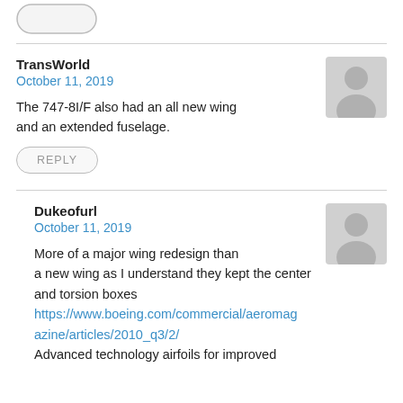[Figure (illustration): Rounded rectangle button shape at top left, partially visible]
TransWorld
October 11, 2019
[Figure (illustration): Gray avatar placeholder icon (person silhouette)]
The 747-8I/F also had an all new wing and an extended fuselage.
REPLY
Dukeofurl
October 11, 2019
[Figure (illustration): Gray avatar placeholder icon (person silhouette)]
More of a major wing redesign than a new wing as I understand they kept the center and torsion boxes
https://www.boeing.com/commercial/aeromagazine/articles/2010_q3/2/
Advanced technology airfoils for improved